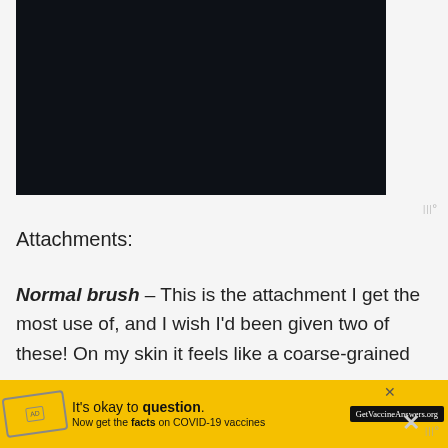[Figure (screenshot): Dark/black video player area]
|||°
Attachments:
Normal brush – This is the attachment I get the most use of, and I wish I'd been given two of these! On my skin it feels like a coarse-grained s...